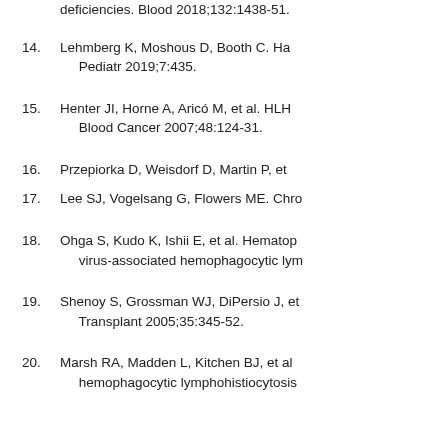deficiencies. Blood 2018;132:1438-51.
14. Lehmberg K, Moshous D, Booth C. Ha... Pediatr 2019;7:435.
15. Henter JI, Horne A, Aricó M, et al. HLH... Blood Cancer 2007;48:124-31.
16. Przepiorka D, Weisdorf D, Martin P, et...
17. Lee SJ, Vogelsang G, Flowers ME. Chro...
18. Ohga S, Kudo K, Ishii E, et al. Hematop... virus-associated hemophagocytic lym...
19. Shenoy S, Grossman WJ, DiPersio J, et... Transplant 2005;35:345-52.
20. Marsh RA, Madden L, Kitchen BJ, et al... hemophagocytic lymphohistiocytosis...